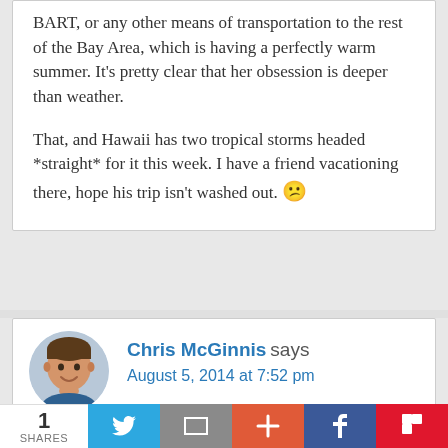BART, or any other means of transportation to the rest of the Bay Area, which is having a perfectly warm summer. It's pretty clear that her obsession is deeper than weather.

That, and Hawaii has two tropical storms headed *straight* for it this week. I have a friend vacationing there, hope his trip isn't washed out. 😕
Chris McGinnis says
August 5, 2014 at 7:52 pm
1 SHARES